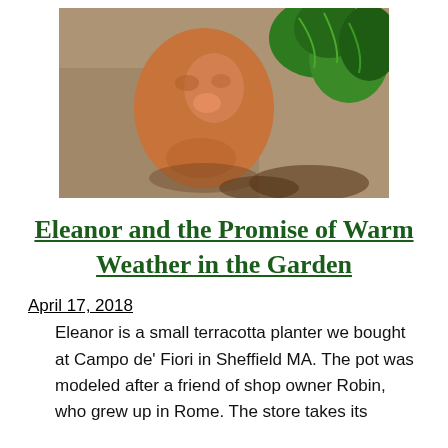[Figure (photo): Close-up photo of a terracotta planter shaped like a human face/head, with green succulent plants visible in the background, set against a stone surface.]
Eleanor and the Promise of Warm Weather in the Garden
April 17, 2018
Eleanor is a small terracotta planter we bought at Campo de' Fiori in Sheffield MA. The pot was modeled after a friend of shop owner Robin, who grew up in Rome. The store takes its